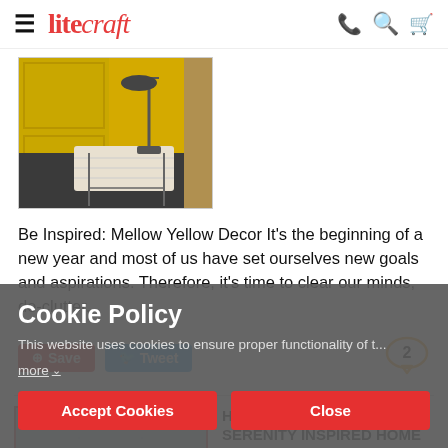litecraft
[Figure (photo): Photo of a lamp over a desk with open magazine against a yellow wall background]
Be Inspired: Mellow Yellow Decor It's the beginning of a new year and most of us have set ourselves new goals and aspirations. Therefore, it's time to clear our minds, de-clutter...
Save  Tweet  [comment bubble: 2]
[Figure (photo): Photo of a home spa with bathtub, partial view, grey tones]
HOW TO CREATE A SERENITY INSPIRED HOME SPA
January, 2018
How to
Cookie Policy
This website uses cookies to ensure proper functionality of t...
more
Accept Cookies  Close